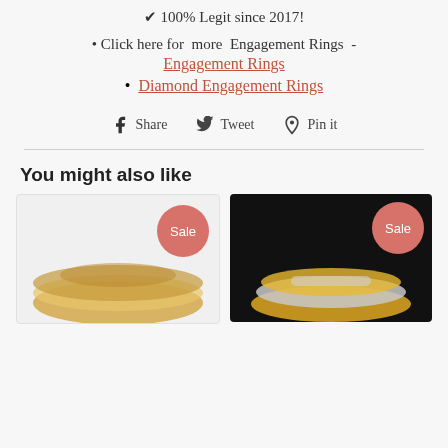✔ 100% Legit since 2017!
Click here for more Engagement Rings -
Engagement Rings
Diamond Engagement Rings
Share  Tweet  Pin it
You might also like
[Figure (photo): Product card showing rose gold stacked rings with Sale badge]
[Figure (photo): Product card showing gold and diamond rings on dark background with Sale badge]